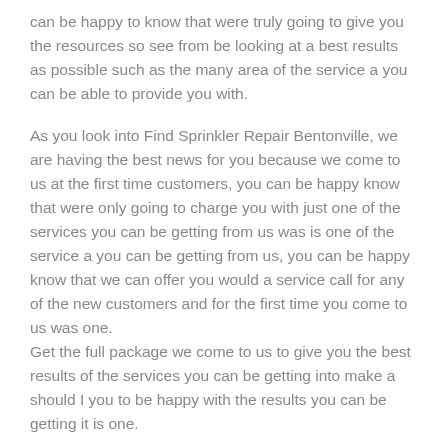can be happy to know that were truly going to give you the resources so see from be looking at a best results as possible such as the many area of the service a you can be able to provide you with.
As you look into Find Sprinkler Repair Bentonville, we are having the best news for you because we come to us at the first time customers, you can be happy know that were only going to charge you with just one of the services you can be getting from us was is one of the service a you can be getting from us, you can be happy know that we can offer you would a service call for any of the new customers and for the first time you come to us was one. Get the full package we come to us to give you the best results of the services you can be getting into make a should I you to be happy with the results you can be getting it is one.